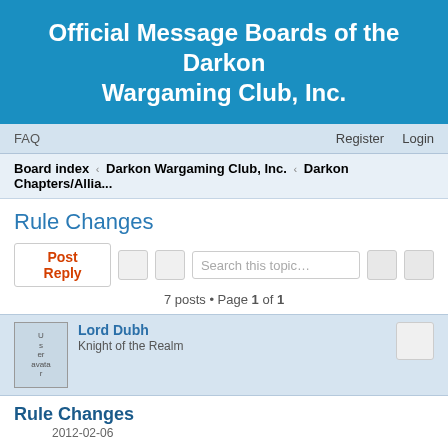Official Message Boards of the Darkon Wargaming Club, Inc.
FAQ   Register   Login
Board index ‹ Darkon Wargaming Club, Inc. ‹ Darkon Chapters/Allia...
Rule Changes
Post Reply   7 posts • Page 1 of 1
Lord Dubh
Knight of the Realm
Rule Changes
2012-02-06
It is not really something to discuss but wanted to get it down on 'paper'.
There is a way to allow alliance members to have a say in rules.
1) Define what size a group has to be to be involved in the process (we will call them Realms).